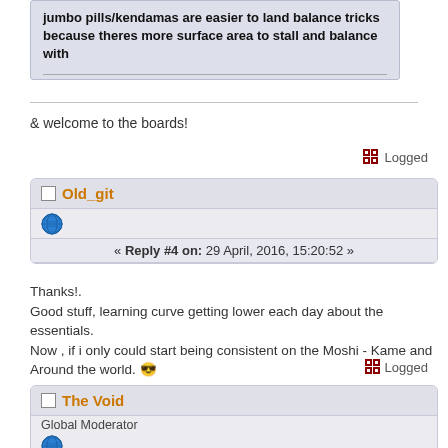jumbo pills/kendamas are easier to land balance tricks because theres more surface area to stall and balance with
& welcome to the boards!
Logged
Old_git
« Reply #4 on: 29 April, 2016, 15:20:52 »
Thanks!.
Good stuff, learning curve getting lower each day about the essentials.
Now , if i only could start being consistent on the Moshi - Kame and Around the world. 😎
Logged
The Void
Global Moderator
« Reply #5 on: 29 April, 2016, 16:12:55 »